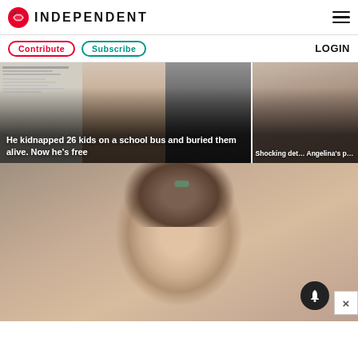INDEPENDENT
Contribute  Subscribe  LOGIN
[Figure (photo): News article card: He kidnapped 26 kids on a school bus and buried them alive. Now he's free]
[Figure (photo): News article card: Shocking details about Angelina's private life]
[Figure (photo): Main large photo: portrait of a young woman with 1960s bouffant hairstyle and green hair clip, colorized vintage photo]